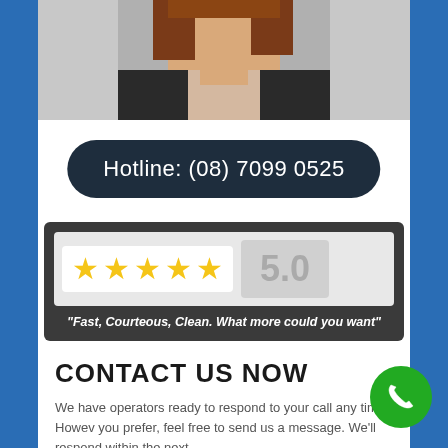[Figure (photo): Partial photo of a woman with brown hair wearing a dark blazer, cropped at top of page]
Hotline: (08) 7099 0525
[Figure (infographic): 5-star rating badge showing 5 gold stars and score 5.0 with quote: Fast, Courteous, Clean. What more could you want]
CONTACT US NOW
We have operators ready to respond to your call any time. However you prefer, feel free to send us a message. We'll respond within the next...